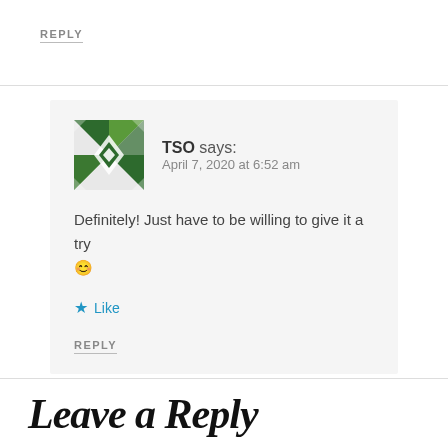REPLY
[Figure (illustration): Green geometric quilt-pattern avatar icon for user TSO]
TSO says:
April 7, 2020 at 6:52 am
Definitely! Just have to be willing to give it a try 😊
★ Like
REPLY
Leave a Reply